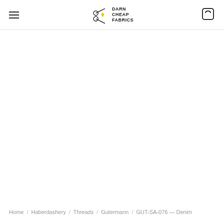Darn Cheap Fabrics — navigation header with hamburger menu and cart icon
Home / Haberdashery / Threads / Gutermann / GUT-SA-076 — Denim